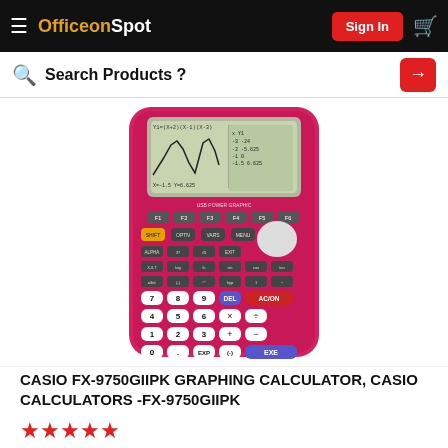OfficeonSpot | Sign In
Search Products ?
[Figure (photo): Pink Casio FX-9750GIIPK graphing calculator with LCD screen showing a graph and table, multiple rows of buttons including numeric and function keys.]
CASIO FX-9750GIIPK GRAPHING CALCULATOR, CASIO CALCULATORS -FX-9750GIIPK
★★★★★